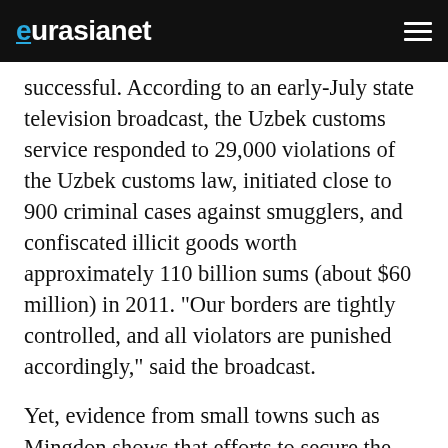eurasianet
successful. According to an early-July state television broadcast, the Uzbek customs service responded to 29,000 violations of the Uzbek customs law, initiated close to 900 criminal cases against smugglers, and confiscated illicit goods worth approximately 110 billion sums (about $60 million) in 2011. "Our borders are tightly controlled, and all violators are punished accordingly," said the broadcast.
Yet, evidence from small towns such as Mingdon shows that efforts to secure the border are failing. Mingdon is situated on a section of the border that is not fully